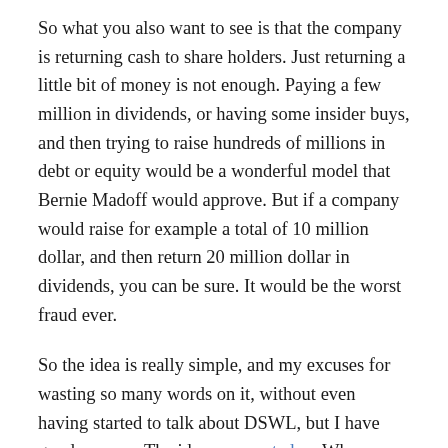So what you also want to see is that the company is returning cash to share holders. Just returning a little bit of money is not enough. Paying a few million in dividends, or having some insider buys, and then trying to raise hundreds of millions in debt or equity would be a wonderful model that Bernie Madoff would approve. But if a company would raise for example a total of 10 million dollar, and then return 20 million dollar in dividends, you can be sure. It would be the worst fraud ever.
So the idea is really simple, and my excuses for wasting so many words on it, without even having started to talk about DSWL, but I have good reasons. The idea was posted on Whopper Investments a few days ago, and you see that no-one is willing to buy the company, including the author of the article, because it's supposedly too hard to evaluate if the company is a fraud. And that's exactly why it could be an opportunity, no-one is willing to buy some unknown Chinese